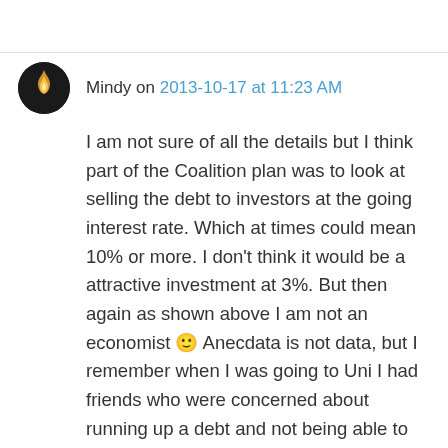Mindy on 2013-10-17 at 11:23 AM
I am not sure of all the details but I think part of the Coalition plan was to look at selling the debt to investors at the going interest rate. Which at times could mean 10% or more. I don't think it would be a attractive investment at 3%. But then again as shown above I am not an economist 🙂 Anecdata is not data, but I remember when I was going to Uni I had friends who were concerned about running up a debt and not being able to pay it off.
I am interested to know if the debt becomes privatised does it affect your credit rating? Could having a HECS debt make it more difficult to buy